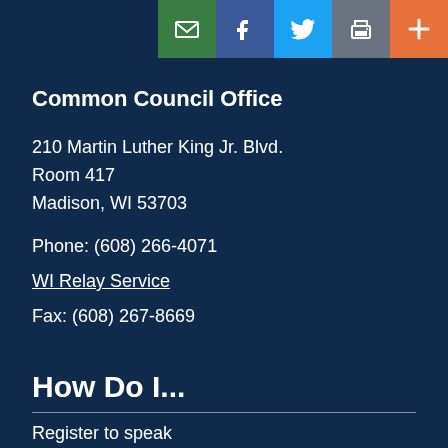[Figure (infographic): Top navigation bar with social sharing buttons: email (green), Facebook (blue), Twitter (light blue), print (gray), and plus/more (orange)]
Common Council Office
210 Martin Luther King Jr. Blvd.
Room 417
Madison, WI 53703
Phone: (608) 266-4071
WI Relay Service
Fax: (608) 267-8669
How Do I...
Register to speak